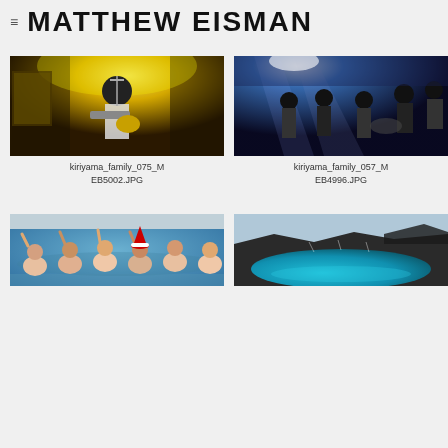MATTHEW EISMAN
[Figure (photo): Concert photo of a guitarist performing under yellow/orange stage lighting]
kiriyama_family_075_MEB5002.JPG
[Figure (photo): Concert photo of a band performing under blue stage lighting with multiple musicians]
kiriyama_family_057_MEB4996.JPG
[Figure (photo): People celebrating in a geothermal pool, partially visible at bottom of page]
[Figure (photo): Aerial view of blue geothermal lagoon surrounded by dark lava rock, partially visible at bottom of page]